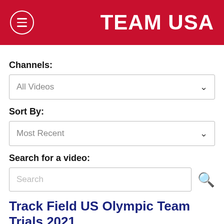TEAM USA
Channels:
All Videos
Sort By:
Most Recent
Search for a video:
Search
Track Field US Olympic Team Trials 2021
[Figure (photo): Video thumbnail showing stadium seating with green and yellow colors, with a LIVE NBC badge in the top right corner and a person visible in the foreground.]